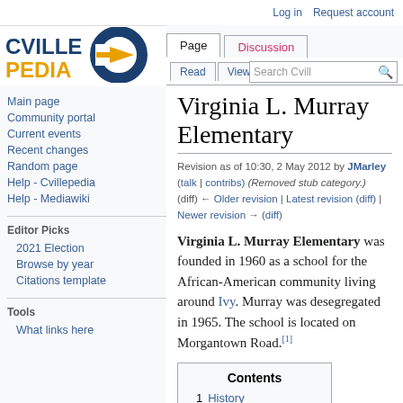Log in | Request account
[Figure (logo): Cvillepedia logo with blue C and orange arrow]
Virginia L. Murray Elementary
Revision as of 10:30, 2 May 2012 by JMarley (talk | contribs) (Removed stub category.) (diff) ← Older revision | Latest revision (diff) | Newer revision → (diff)
Virginia L. Murray Elementary was founded in 1960 as a school for the African-American community living around Ivy. Murray was desegregated in 1965. The school is located on Morgantown Road.[1]
Main page
Community portal
Current events
Recent changes
Random page
Help - Cvillepedia
Help - Mediawiki
Editor Picks
2021 Election
Browse by year
Citations template
Tools
What links here
| Contents |
| --- |
| 1 History |